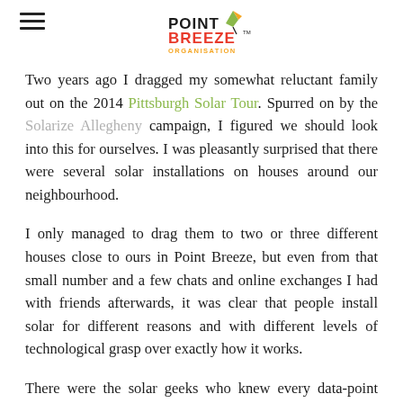Point Breeze Organisation
Two years ago I dragged my somewhat reluctant family out on the 2014 Pittsburgh Solar Tour. Spurred on by the Solarize Allegheny campaign, I figured we should look into this for ourselves. I was pleasantly surprised that there were several solar installations on houses around our neighbourhood.
I only managed to drag them to two or three different houses close to ours in Point Breeze, but even from that small number and a few chats and online exchanges I had with friends afterwards, it was clear that people install solar for different reasons and with different levels of technological grasp over exactly how it works.
There were the solar geeks who knew every data-point about their system, the expected production rates and who had the print outs of how much power they had produced each week, month and year since installation.  There were those that were quite proud of the fact that they had no idea how it